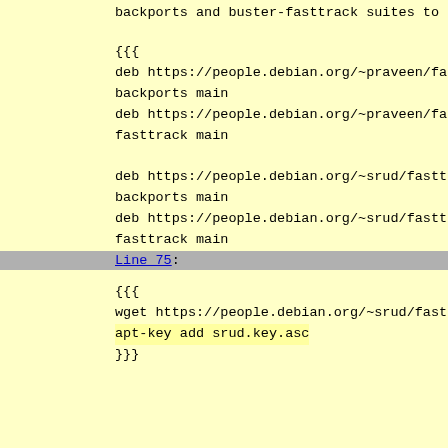backports and buster-fasttrack suites to
{{{
deb https://people.debian.org/~praveen/fa
backports main
deb https://people.debian.org/~praveen/fa
fasttrack main

deb https://people.debian.org/~srud/fastt
backports main
deb https://people.debian.org/~srud/fastt
fasttrack main
}}}
Line 75:
{{{
wget https://people.debian.org/~srud/fast
apt-key add srud.key.asc
}}}